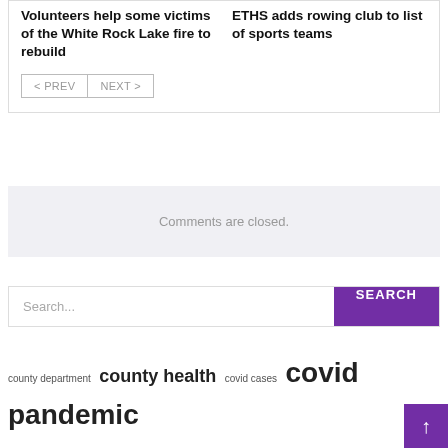Volunteers help some victims of the White Rock Lake fire to rebuild
ETHS adds rowing club to list of sports teams
< PREV  NEXT >
Comments are closed.
Search...  SEARCH
county department  county health  covid cases  covid pandemic  covid vaccine  department health  executive director  existing programs  health care